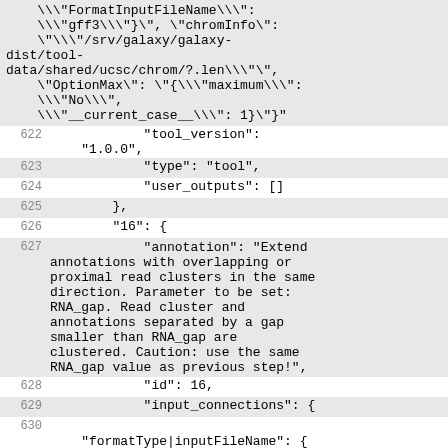\"FormatInputFileName\": \"gff3\"}", \"chromInfo\": \"\\\"/srv/galaxy/galaxy-dist/tool-data/shared/ucsc/chrom/?.len\\\"", \"OptionMax\": \"{\\\"maximum\\\": \\\"No\\\", \\\"__current_case__\\\": 1}\"",
622    "tool_version": "1.0.0",
623    "type": "tool",
624    "user_outputs": []
625    },
626    "16": {
627    "annotation": "Extend annotations with overlapping or proximal read clusters in the same direction. Parameter to be set: RNA_gap. Read cluster and annotations separated by a gap smaller than RNA_gap are clustered. Caution: use the same RNA_gap value as previous step!",
628    "id": 16,
629    "input_connections": {
630    "formatType|inputFileName": {
631    "id": 13,
632    "output_name": "out_file1"